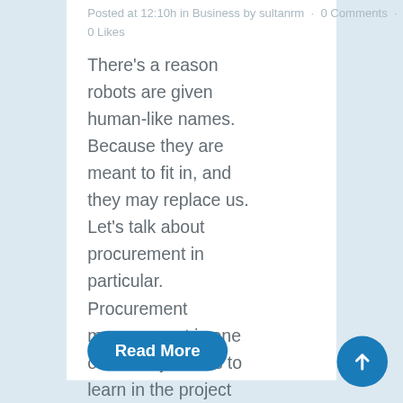Posted at 12:10h in Business by sultanrm · 0 Comments · 0 Likes
There's a reason robots are given human-like names. Because they are meant to fit in, and they may replace us. Let's talk about procurement in particular. Procurement management is one of the major skills to learn in the project management process. People know about it,...
Read More